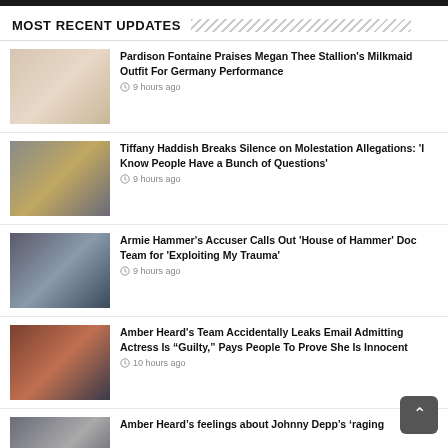MOST RECENT UPDATES
Pardison Fontaine Praises Megan Thee Stallion's Milkmaid Outfit For Germany Performance — 9 hours ago
Tiffany Haddish Breaks Silence on Molestation Allegations: 'I Know People Have a Bunch of Questions' — 9 hours ago
Armie Hammer's Accuser Calls Out 'House of Hammer' Doc Team for 'Exploiting My Trauma' — 9 hours ago
Amber Heard's Team Accidentally Leaks Email Admitting Actress Is "Guilty," Pays People To Prove She Is Innocent — 10 hours ago
Amber Heard's feelings about Johnny Depp's 'raging